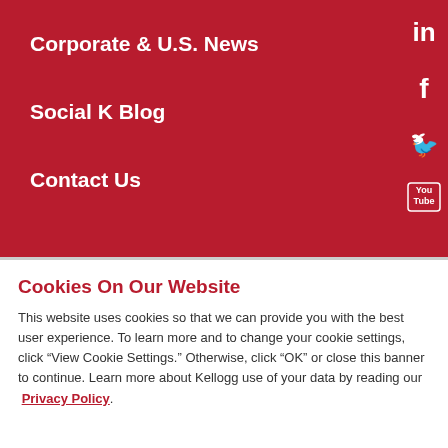Corporate & U.S. News
Social K Blog
Contact Us
[Figure (illustration): Social media icons column on right: LinkedIn, Facebook, Twitter, YouTube — white icons on dark red background]
Cookies On Our Website
This website uses cookies so that we can provide you with the best user experience. To learn more and to change your cookie settings, click “View Cookie Settings.” Otherwise, click “OK” or close this banner to continue. Learn more about Kellogg use of your data by reading our Privacy Policy.